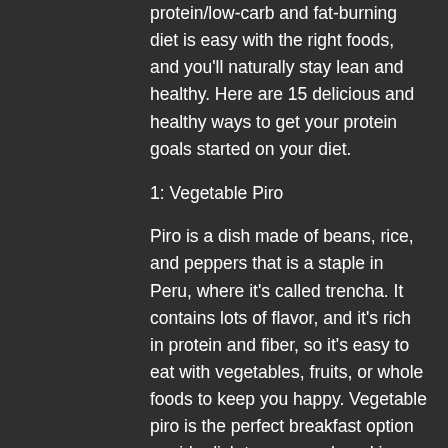protein/low-carb and fat-burning diet is easy with the right foods, and you'll naturally stay lean and healthy. Here are 15 delicious and healthy ways to get your protein goals started on your diet.
1: Vegetable Piro
Piro is a dish made of beans, rice, and peppers that is a staple in Peru, where it's called trencha. It contains lots of flavor, and it's rich in protein and fiber, so it's easy to eat with vegetables, fruits, or whole foods to keep you happy. Vegetable piro is the perfect breakfast option or side dish to any meal, and is perfect for vegetarians and lacto vegetarians. The fiber in this dish also acts like a protein pill that your body can absorb, as well as help reduce cholesterol and triglycerides. It's also a perfect way to boost your calorie and calorie burn goals as well.